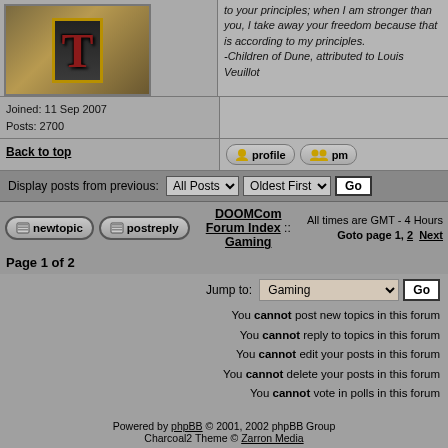[Figure (illustration): Avatar image with decorative letter T on dark background with gold border]
Joined: 11 Sep 2007
Posts: 2700
to your principles; when I am stronger than you, I take away your freedom because that is according to my principles.
-Children of Dune, attributed to Louis Veuillot
Back to top
[Figure (screenshot): Profile button with user icon]
[Figure (screenshot): PM button with user icons]
Display posts from previous: All Posts  Oldest First  Go
newtopic  postreply  DOOMCom Forum Index :: Gaming  All times are GMT - 4 Hours  Goto page 1, 2  Next
Page 1 of 2
Jump to: Gaming  Go
You cannot post new topics in this forum
You cannot reply to topics in this forum
You cannot edit your posts in this forum
You cannot delete your posts in this forum
You cannot vote in polls in this forum
Powered by phpBB © 2001, 2002 phpBB Group
Charcoal2 Theme © Zarron Media